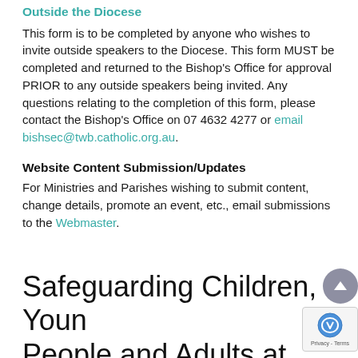Outside the Diocese
This form is to be completed by anyone who wishes to invite outside speakers to the Diocese. This form MUST be completed and returned to the Bishop's Office for approval PRIOR to any outside speakers being invited. Any questions relating to the completion of this form, please contact the Bishop's Office on 07 4632 4277 or email bishsec@twb.catholic.org.au.
Website Content Submission/Updates
For Ministries and Parishes wishing to submit content, change details, promote an event, etc., email submissions to the Webmaster.
Safeguarding Children, Young People and Adults at Risk in Our Community